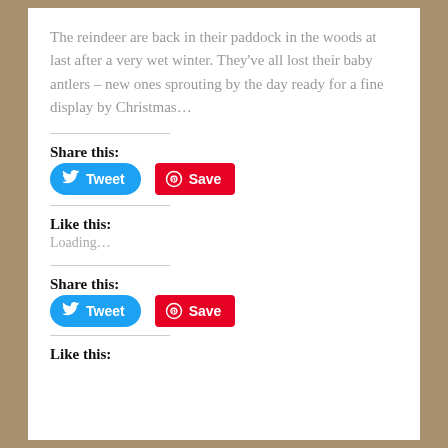The reindeer are back in their paddock in the woods at last after a very wet winter. They've all lost their baby antlers – new ones sprouting by the day ready for a fine display by Christmas…
Share this:
[Figure (other): Tweet button (blue rounded) and Save button (red rounded rectangle) for sharing]
Like this:
Loading…
Share this:
[Figure (other): Tweet button (blue rounded) and Save button (red rounded rectangle) for sharing]
Like this: